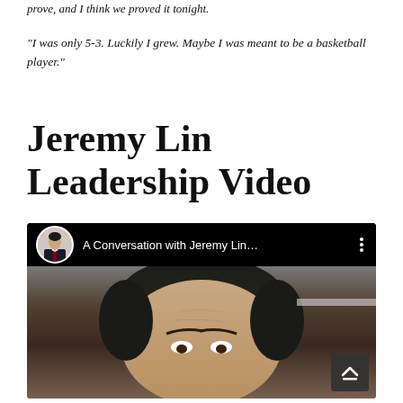prove, and I think we proved it tonight.
“I was only 5-3. Luckily I grew. Maybe I was meant to be a basketball player.”
Jeremy Lin Leadership Video
[Figure (screenshot): YouTube video thumbnail showing 'A Conversation with Jeremy Lin...' with a profile avatar of an Asian man in a suit, three-dot menu icon, and a close-up photo of a face (Jeremy Lin) below.]